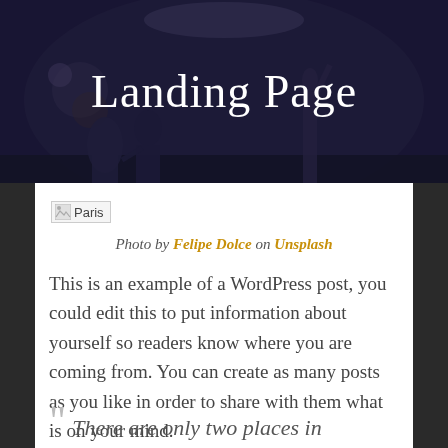[Figure (photo): Dark concert/music event hero banner background with performers on stage, dimly lit with blue/purple tones]
Landing Page
[Figure (photo): Broken/missing image placeholder labeled 'Paris']
Photo by Felipe Dolce on Unsplash
This is an example of a WordPress post, you could edit this to put information about yourself so readers know where you are coming from. You can create as many posts as you like in order to share with them what is on your mind.
“ There are only two places in